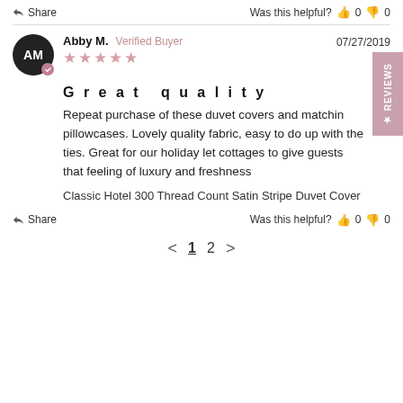Share   Was this helpful?  👍 0  👎 0
Abby M.  Verified Buyer  07/27/2019  ★★★★★
Great quality
Repeat purchase of these duvet covers and matching pillowcases. Lovely quality fabric, easy to do up with the ties. Great for our holiday let cottages to give guests that feeling of luxury and freshness
Classic Hotel 300 Thread Count Satin Stripe Duvet Cover
Share   Was this helpful?  👍 0  👎 0
< 1 2 >